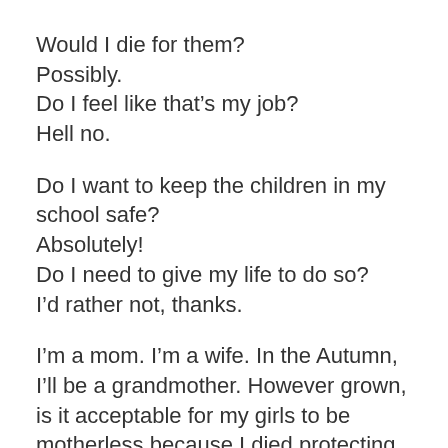Would I die for them?
Possibly.
Do I feel like that's my job?
Hell no.
Do I want to keep the children in my school safe?
Absolutely!
Do I need to give my life to do so?
I'd rather not, thanks.
I'm a mom. I'm a wife. In the Autumn, I'll be a grandmother. However grown, is it acceptable for my girls to be motherless because I died protecting other peoples children? And YBW? Is it acceptable for him to be a widower before we even gain traction on our greatest life adventure together? And little Shrimpy, the bebe I long to know and love. To teach and learn with. To watch irritate